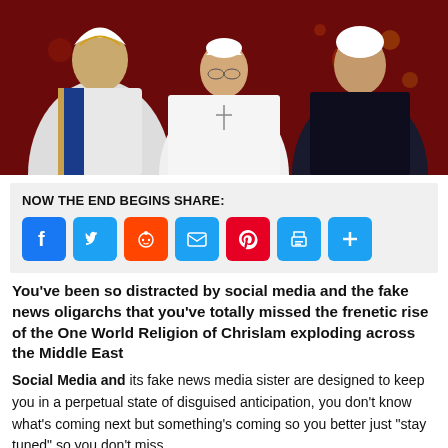[Figure (photo): Three religious figures bowing or looking down together against a red/dark background. Left figure wears white and gold Arab/Gulf traditional dress, center figure wears white papal vestments with a cross necklace (Pope Francis), right figure wears a white turban and dark robe (Islamic scholar).]
NOW THE END BEGINS SHARE:
[Figure (infographic): Row of seven social share buttons: Facebook (blue), Twitter (blue), Reddit (orange), Email (blue), Pinterest (red), Print (blue), More/Plus (blue)]
You've been so distracted by social media and the fake news oligarchs that you've totally missed the frenetic rise of the One World Religion of Chrislam exploding across the Middle East
Social Media and its fake news media sister are designed to keep you in a perpetual state of disguised anticipation, you don't know what's coming next but something's coming so you better just “stay tuned” so you don't miss